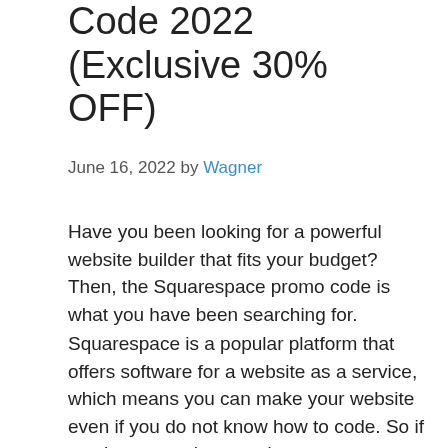Code 2022 (Exclusive 30% OFF)
June 16, 2022 by Wagner
Have you been looking for a powerful website builder that fits your budget? Then, the Squarespace promo code is what you have been searching for.
Squarespace is a popular platform that offers software for a website as a service, which means you can make your website even if you do not know how to code. So if you have no prior experience or are a beginner, Squarespace can help you create your dream website.